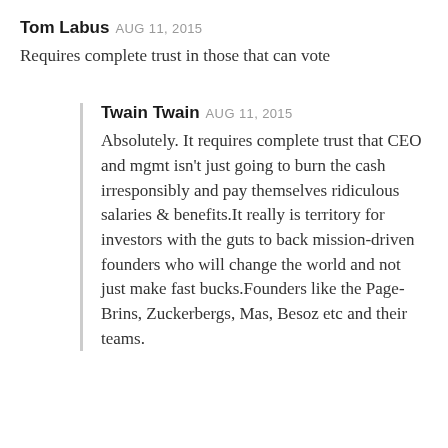Tom Labus AUG 11, 2015
Requires complete trust in those that can vote
Twain Twain AUG 11, 2015
Absolutely. It requires complete trust that CEO and mgmt isn't just going to burn the cash irresponsibly and pay themselves ridiculous salaries & benefits.It really is territory for investors with the guts to back mission-driven founders who will change the world and not just make fast bucks.Founders like the Page-Brins, Zuckerbergs, Mas, Besoz etc and their teams.